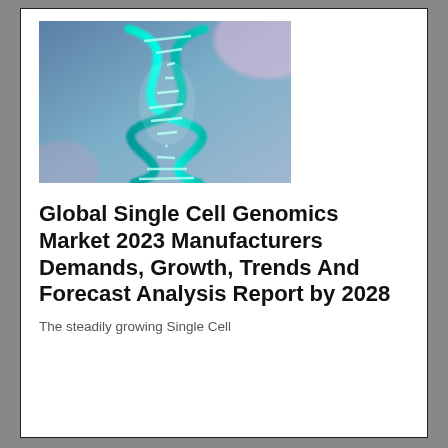[Figure (photo): Close-up illustration of a DNA double helix structure glowing in teal/cyan against a blurred blue-purple background]
Global Single Cell Genomics Market 2023 Manufacturers Demands, Growth, Trends And Forecast Analysis Report by 2028
The steadily growing Single Cell